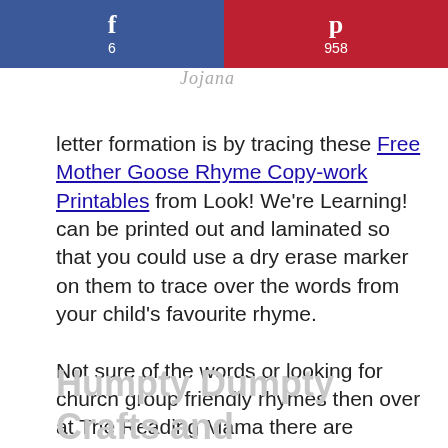[Figure (other): Social share bar with Facebook (6 shares) and Pinterest (958 shares) buttons]
letter formation is by tracing these Free Mother Goose Rhyme Copy-work Printables from Look! We're Learning! can be printed out and laminated so that you could use a dry erase marker on them to trace over the words from your child's favourite rhyme.
Not sure of the words or looking for church group friendly rhymes then over at The Reading Mama there are Printable Nursery Rhymes to download and print.
Humpty Dumpty Crafts and